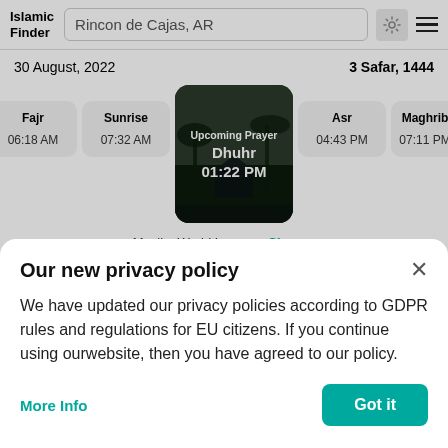Islamic Finder | Rincon de Cajas, AR
30 August, 2022 | 3 Safar, 1444
[Figure (screenshot): Prayer times display showing Fajr 06:18 AM, Sunrise 07:32 AM, upcoming prayer Dhuhr 01:22 PM (highlighted), Asr 04:43 PM, Maghrib 07:11 PM]
Muslim World League Change
Fajr 18.0 degrees, Isha 17.0 degrees, Hanbali, Maliki, Shafi
Our new privacy policy
We have updated our privacy policies according to GDPR rules and regulations for EU citizens. If you continue using ourwebsite, then you have agreed to our policy.
More Info | Got it